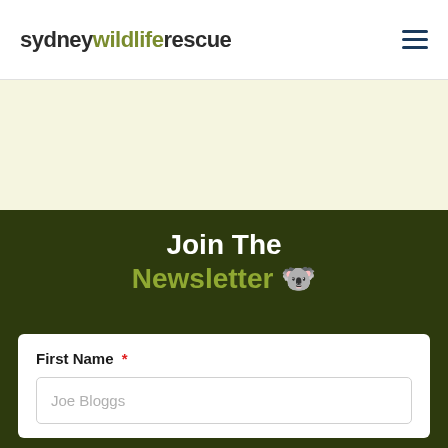sydney wildlife rescue
[Figure (other): Hamburger menu icon (three horizontal lines) in dark blue]
[Figure (other): Light cream/beige background section, empty]
Join The Newsletter 🐨
First Name *
Joe Bloggs (placeholder text in input field)